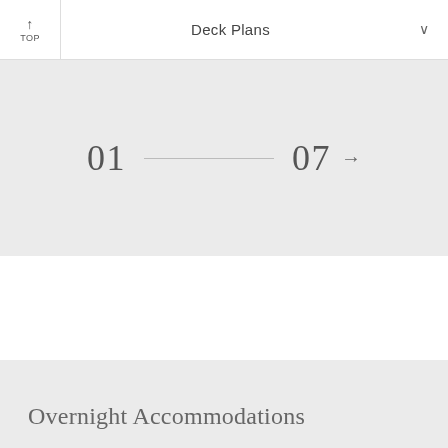TOP  Deck Plans
01 — 07 →
Overnight Accommodations